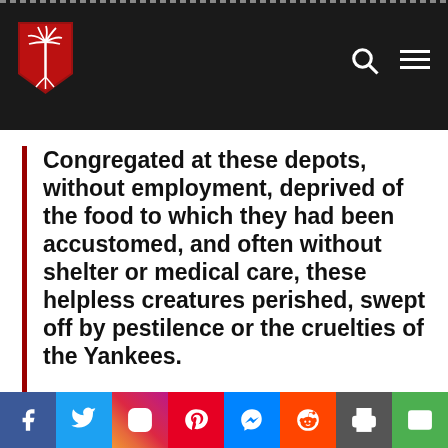[Figure (logo): Red shield logo with white palmetto tree, on dark header bar with search and menu icons]
Congregated at these depots, without employment, deprived of the food to which they had been accustomed, and often without shelter or medical care, these helpless creatures perished, swept off by pestilence or the cruelties of the Yankees.
We may take from Northern
[Figure (other): Social media sharing bar with Facebook, Twitter, Instagram, Pinterest, Messenger, Reddit, Print, and Email buttons]